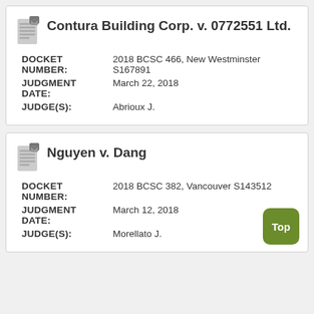Contura Building Corp. v. 0772551 Ltd.
DOCKET NUMBER: 2018 BCSC 466, New Westminster S167891
JUDGMENT DATE: March 22, 2018
JUDGE(S): Abrioux J.
Nguyen v. Dang
DOCKET NUMBER: 2018 BCSC 382, Vancouver S143512
JUDGMENT DATE: March 12, 2018
JUDGE(S): Morellato J.